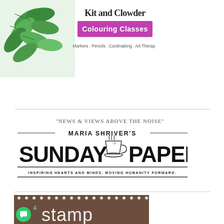[Figure (logo): Kit and Clowder Colouring Classes banner with green leaf illustration, purple background for 'Colouring Classes', and tagline 'Markers . Pencils . Cardmaking . Art Therapy']
"NEWS & VIEWS ABOVE THE NOISE"
[Figure (logo): Maria Shriver's Sunday Paper logo with coffee cup illustration and tagline 'INSPIRING HEARTS AND MINDS. MOVING HUMANITY FORWARD.']
[Figure (screenshot): Brown textured banner with white dotted border and large white text 'stamp', with number '4' in teal top-left and a green chat bubble icon bottom-left]